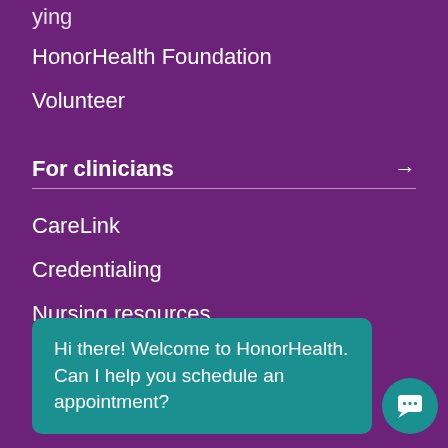…ying…
HonorHealth Foundation
Volunteer
For clinicians →
CareLink
Credentialing
Nursing resources
Physician resources
Hi there! Welcome to HonorHealth. Can I help you schedule an appointment?